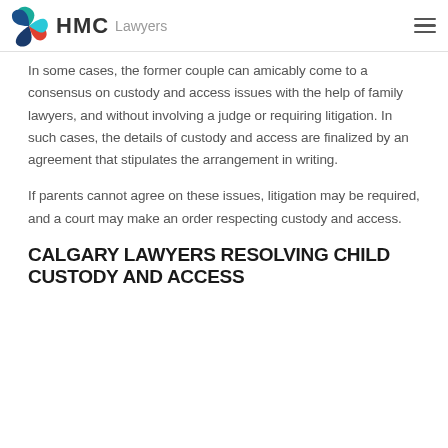HMC Lawyers
In some cases, the former couple can amicably come to a consensus on custody and access issues with the help of family lawyers, and without involving a judge or requiring litigation. In such cases, the details of custody and access are finalized by an agreement that stipulates the arrangement in writing.
If parents cannot agree on these issues, litigation may be required, and a court may make an order respecting custody and access.
CALGARY LAWYERS RESOLVING CHILD CUSTODY AND ACCESS